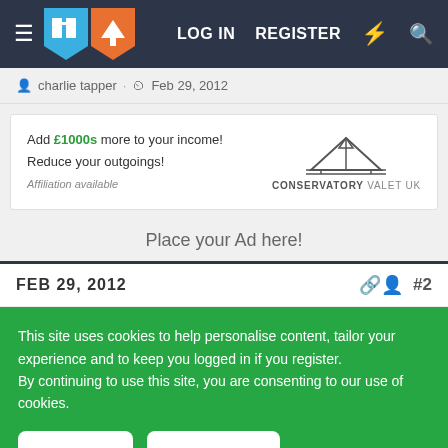LOG IN  REGISTER
charlie tapper · Feb 29, 2012
[Figure (other): Conservatory Valet UK advertisement banner: Add £1000s more to your income! Reduce your outgoings! Affiliation available]
Place your Ad here!
FEB 29, 2012  #2
This site uses cookies to help personalise content, tailor your experience and to keep you logged in if you register. By continuing to use this site, you are consenting to our use of cookies.
✓ Accept  Learn more...
Don't enjoy ads on the forum? Remove them ALL with a premium membership!